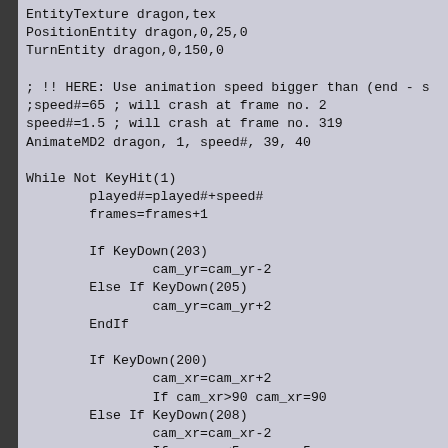EntityTexture dragon,tex
PositionEntity dragon,0,25,0
TurnEntity dragon,0,150,0

; !! HERE: Use animation speed bigger than (end - s
;speed#=65 ; will crash at frame no. 2
speed#=1.5 ; will crash at frame no. 319
AnimateMD2 dragon, 1, speed#, 39, 40

While Not KeyHit(1)
        played#=played#+speed#
        frames=frames+1

        If KeyDown(203)
                cam_yr=cam_yr-2
        Else If KeyDown(205)
                cam_yr=cam_yr+2
        EndIf

        If KeyDown(200)
                cam_xr=cam_xr+2
                If cam_xr>90 cam_xr=90
        Else If KeyDown(208)
                cam_xr=cam_xr-2
                If cam_xr<5 cam_xr=5
        EndIf

        If KeyDown(26)
                cam_zr=cam_zr+2
        Else If KeyDown(27)